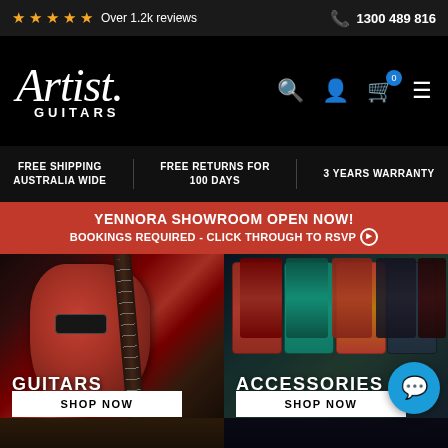★★★★★ Over 1.2k reviews   📞 1300 489 816
[Figure (logo): Artist Guitars logo in italic white serif font with GUITARS subtitle, on black background]
FREE SHIPPING AUSTRALIA WIDE   FREE RETURNS FOR 100 DAYS   3 YEARS WARRANTY
YENNORA SHOWROOM OPEN NOW! BOOKINGS REQUIRED - CLICK THROUGH TO RSVP ⊙
[Figure (photo): Red electric guitar (Les Paul style) with dark background, fretboard visible]
GUITARS
SHOP NOW
[Figure (photo): Guitar string packets (Ernie Ball) on display wall - red, teal, orange, dark colorways]
ACCESSORIES
SHOP NOW
[Figure (photo): Bottom strip partial images of amplifiers/guitar equipment]